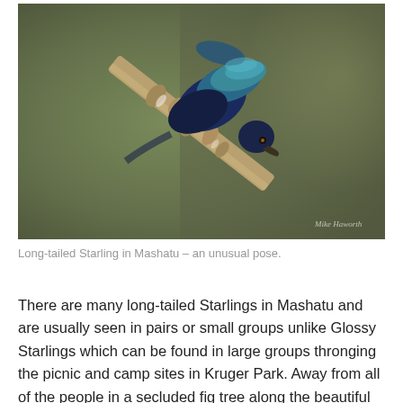[Figure (photo): A Long-tailed Starling bird with iridescent blue-green and dark brown plumage, perched on a dried, textured branch or reed, leaning forward in an unusual pose. The background is a muted olive-green. A watermark reads 'Mike Haworth' in the lower right corner.]
Long-tailed Starling in Mashatu – an unusual pose.
There are many long-tailed Starlings in Mashatu and are usually seen in pairs or small groups unlike Glossy Starlings which can be found in large groups thronging the picnic and camp sites in Kruger Park. Away from all of the people in a secluded fig tree along the beautiful Olifants